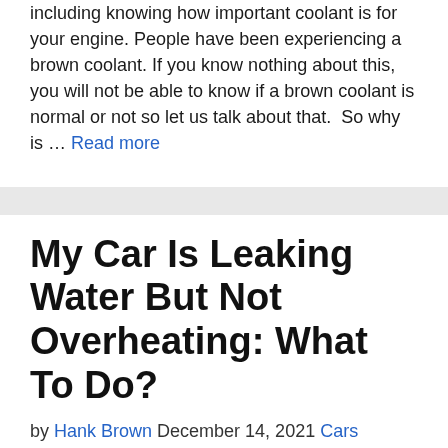including knowing how important coolant is for your engine. People have been experiencing a brown coolant. If you know nothing about this, you will not be able to know if a brown coolant is normal or not so let us talk about that.  So why is … Read more
My Car Is Leaking Water But Not Overheating: What To Do?
by Hank Brown December 14, 2021 Cars